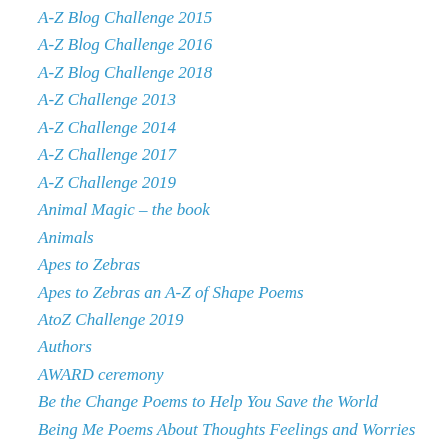A-Z Blog Challenge 2015
A-Z Blog Challenge 2016
A-Z Blog Challenge 2018
A-Z Challenge 2013
A-Z Challenge 2014
A-Z Challenge 2017
A-Z Challenge 2019
Animal Magic – the book
Animals
Apes to Zebras
Apes to Zebras an A-Z of Shape Poems
AtoZ Challenge 2019
Authors
AWARD ceremony
Be the Change Poems to Help You Save the World
Being Me Poems About Thoughts Feelings and Worries
Book Publication
Book Reviews
Cheltenham Literary Festival
Chewton Mendip Primary School